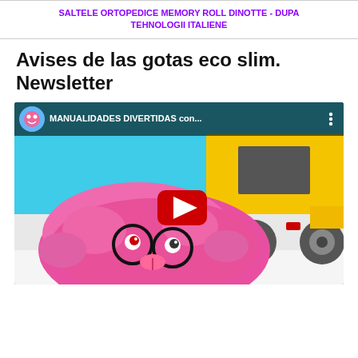SALTELE ORTOPEDICE MEMORY ROLL DINOTTE - DUPA TEHNOLOGII ITALIENE
Avises de las gotas eco slim. Newsletter
[Figure (screenshot): YouTube video thumbnail showing a cartoon pink slime character with glasses and a yellow dump truck. Top bar shows channel icon and title 'MANUALIDADES DIVERTIDAS con...' with a red YouTube play button overlay.]